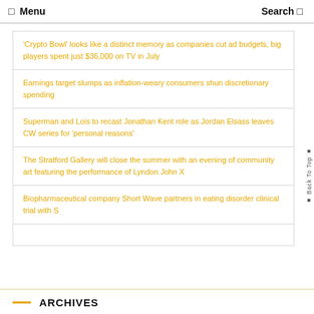☰ Menu   Search 🔍
'Crypto Bowl' looks like a distinct memory as companies cut ad budgets, big players spent just $36,000 on TV in July
Earnings target slumps as inflation-weary consumers shun discretionary spending
Superman and Lois to recast Jonathan Kent role as Jordan Elsass leaves CW series for 'personal reasons'
The Stratford Gallery will close the summer with an evening of community art featuring the performance of Lyndon John X
Biopharmaceutical company Short Wave partners in eating disorder clinical trial with S
ARCHIVES